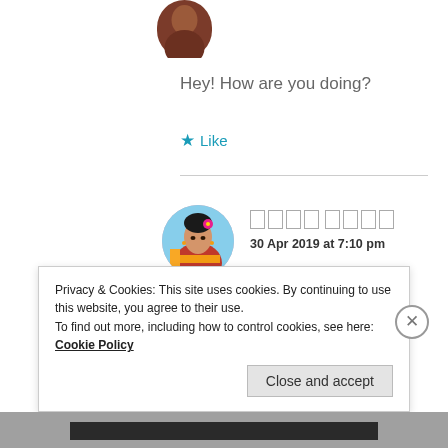[Figure (photo): Circular avatar photo of a person, partially cropped at top]
Hey! How are you doing?
★ Like
[Figure (photo): Circular avatar showing a woman in traditional Indian attire with colorful clothing and flower in hair]
30 Apr 2019 at 7:10 pm
great!! whats going on ?
Privacy & Cookies: This site uses cookies. By continuing to use this website, you agree to their use.
To find out more, including how to control cookies, see here: Cookie Policy
Close and accept